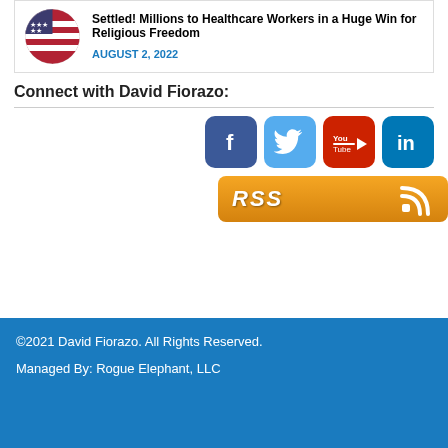[Figure (other): Article card with circular flag image, title 'Settled! Millions to Healthcare Workers in a Huge Win for Religious Freedom', date AUGUST 2, 2022]
Connect with David Fiorazo:
[Figure (other): Social media icons: Facebook, Twitter, YouTube, LinkedIn]
[Figure (other): RSS feed button in orange]
©2021 David Fiorazo. All Rights Reserved.
Managed By: Rogue Elephant, LLC